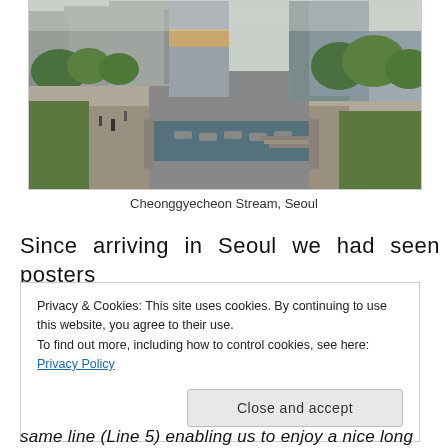[Figure (photo): Aerial/eye-level view of Cheonggyecheon Stream in Seoul, with stone walkways along both sides of the stream, lush green trees, stepping stones across the water, and tall modern glass skyscrapers in the background under a hazy sky.]
Cheonggyecheon Stream, Seoul
Since arriving in Seoul we had seen posters
Privacy & Cookies: This site uses cookies. By continuing to use this website, you agree to their use.
To find out more, including how to control cookies, see here: Privacy Policy
Close and accept
same line (Line 5) enabling us to enjoy a nice long